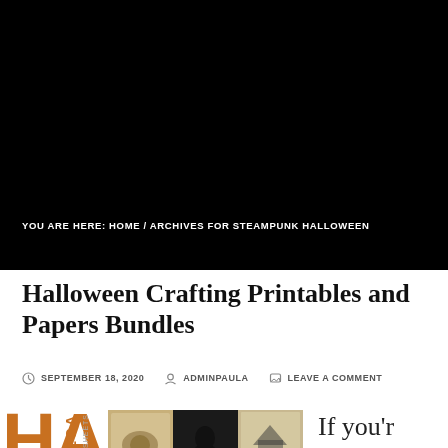[Figure (photo): Large black hero image banner at the top of the page]
YOU ARE HERE: HOME / ARCHIVES FOR STEAMPUNK HALLOWEEN
Halloween Crafting Printables and Papers Bundles
SEPTEMBER 18, 2020  ADMINPAULA  LEAVE A COMMENT
[Figure (photo): Halloween crafting printables product image showing HA text, MEGA text, collage of vintage Halloween images with crow, haunted house, and steampunk elements]